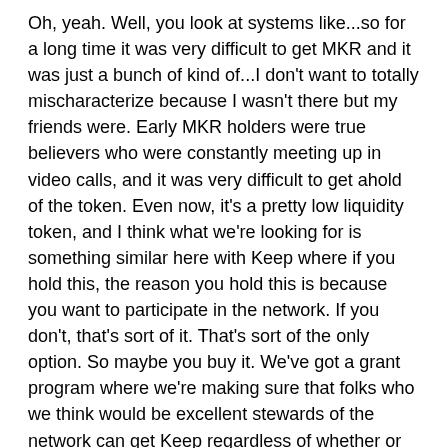Oh, yeah. Well, you look at systems like...so for a long time it was very difficult to get MKR and it was just a bunch of kind of...I don't want to totally mischaracterize because I wasn't there but my friends were. Early MKR holders were true believers who were constantly meeting up in video calls, and it was very difficult to get ahold of the token. Even now, it's a pretty low liquidity token, and I think what we're looking for is something similar here with Keep where if you hold this, the reason you hold this is because you want to participate in the network. If you don't, that's sort of it. That's sort of the only option. So maybe you buy it. We've got a grant program where we're making sure that folks who we think would be excellent stewards of the network can get Keep regardless of whether or not they want to put money down. Yeah. We'll just see how it goes.
Laura Shin: